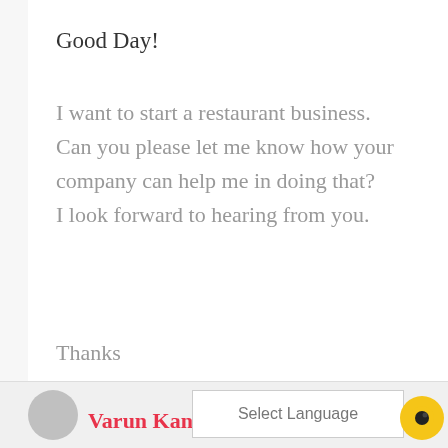Good Day!
I want to start a restaurant business. Can you please let me know how your company can help me in doing that? I look forward to hearing from you.
Thanks
Reply
Select Language
Varun Kaneer